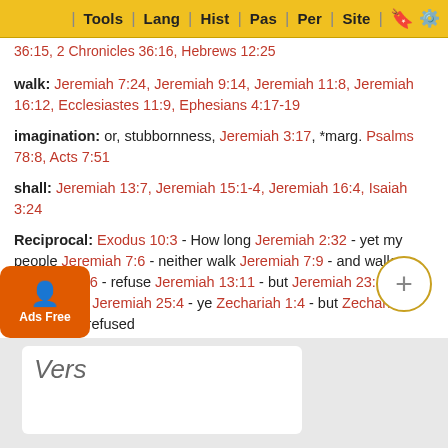Tools | Lang | Hist | Pas | Per | Site
36:15, 2 Chronicles 36:16, Hebrews 12:25
walk: Jeremiah 7:24, Jeremiah 9:14, Jeremiah 11:8, Jeremiah 16:12, Ecclesiastes 11:9, Ephesians 4:17-19
imagination: or, stubbornness, Jeremiah 3:17, *marg. Psalms 78:8, Acts 7:51
shall: Jeremiah 13:7, Jeremiah 15:1-4, Jeremiah 16:4, Isaiah 3:24
Reciprocal: Exodus 10:3 - How long Jeremiah 2:32 - yet my people Jeremiah 7:6 - neither walk Jeremiah 7:9 - and walk Jeremiah 9:6 - refuse Jeremiah 13:11 - but Jeremiah 23:17 - imagination Jeremiah 25:4 - ye Zechariah 1:4 - but Zechariah 7:11 - they refused
Vers